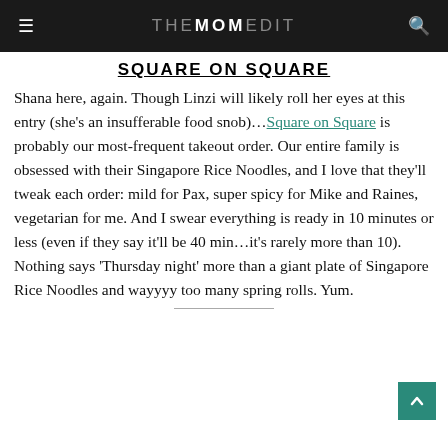THE MOM EDIT
SQUARE ON SQUARE
Shana here, again. Though Linzi will likely roll her eyes at this entry (she's an insufferable food snob)…Square on Square is probably our most-frequent takeout order. Our entire family is obsessed with their Singapore Rice Noodles, and I love that they'll tweak each order: mild for Pax, super spicy for Mike and Raines, vegetarian for me. And I swear everything is ready in 10 minutes or less (even if they say it'll be 40 min…it's rarely more than 10). Nothing says 'Thursday night' more than a giant plate of Singapore Rice Noodles and wayyyy too many spring rolls. Yum.